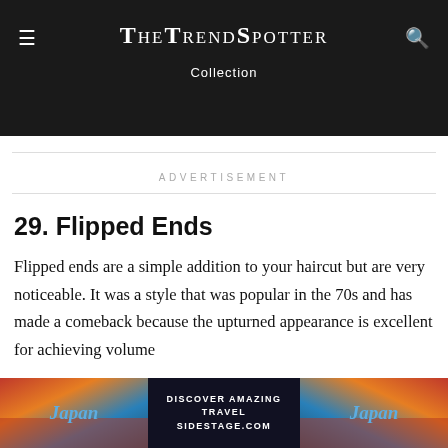TheTrendSpotter — Collection
ADVERTISEMENT
29. Flipped Ends
Flipped ends are a simple addition to your haircut but are very noticeable. It was a style that was popular in the 70s and has made a comeback because the upturned appearance is excellent for achieving volume
[Figure (photo): Japan travel advertisement banner with pagoda imagery and text: DISCOVER AMAZING TRAVEL SIDESTAGE.COM]